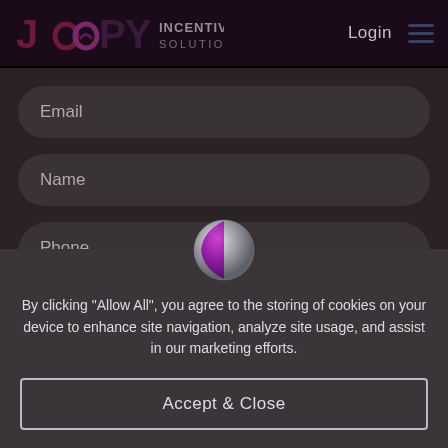[Figure (logo): Joopy Incentives Solutions logo — stylized letter mark in purple/dark red with company name]
Login
[Figure (illustration): Hamburger menu icon with three horizontal dark blue lines]
Email
Name
Phone
[Figure (illustration): Cookie consent icon — spherical orb with silver/grey and purple/magenta coloring]
By clicking “Allow All”, you agree to the storing of cookies on your device to enhance site navigation, analyze site usage, and assist in our marketing efforts.
Accept & Close